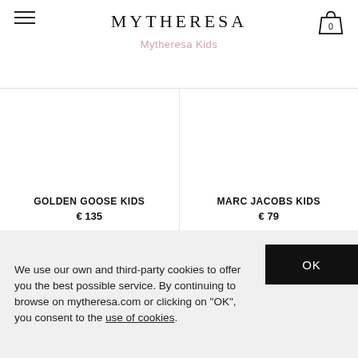MYTHERESA
Mytheresa Kids
GOLDEN GOOSE KIDS
€ 135
MARC JACOBS KIDS
€ 79
We use our own and third-party cookies to offer you the best possible service. By continuing to browse on mytheresa.com or clicking on "OK", you consent to the use of cookies.